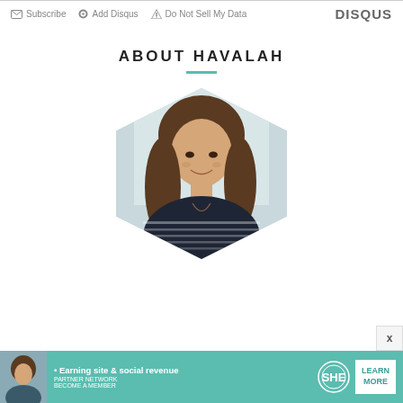Subscribe  Add Disqus  Do Not Sell My Data  DISQUS
ABOUT HAVALAH
[Figure (photo): Hexagon-clipped photo of a young woman with long brown hair, smiling, wearing a dark striped shirt with a long necklace, light background]
[Figure (infographic): SHE Partner Network advertisement banner: teal background, woman photo on left, text 'Earning site & social revenue', SHE logo, 'LEARN MORE' white button, X close button]